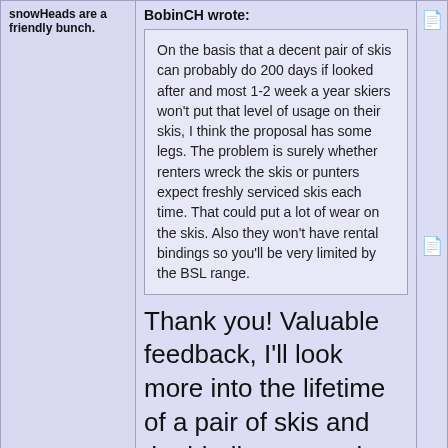snowHeads are a friendly bunch.
BobinCH wrote:
On the basis that a decent pair of skis can probably do 200 days if looked after and most 1-2 week a year skiers won't put that level of usage on their skis, I think the proposal has some legs. The problem is surely whether renters wreck the skis or punters expect freshly serviced skis each time. That could put a lot of wear on the skis. Also they won't have rental bindings so you'll be very limited by the BSL range.
Thank you! Valuable feedback, I'll look more into the lifetime of a pair of skis and the bindings to make a better value proposition!
And love to help out and answer questions and of course, read each other's snow reports.
What are you putting together? Air BnB for skis?
I'd be more than happy to do it (not like I don't have spare skis in my quiver that may not even get used in a given winter)